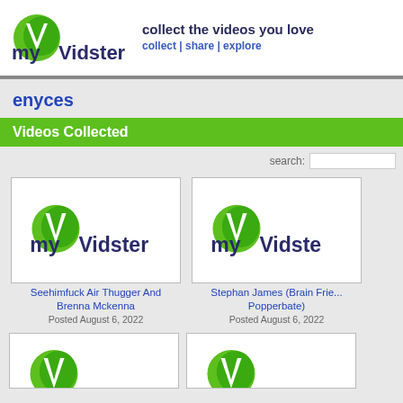myVidster — collect the videos you love | collect | share | explore
enyces
Videos Collected
search:
[Figure (screenshot): myVidster logo placeholder thumbnail for video card 1]
Seehimfuck Air Thugger And Brenna Mckenna
Posted August 6, 2022
[Figure (screenshot): myVidster logo placeholder thumbnail for video card 2]
Stephan James (Brain Frie... Popperbate)
Posted August 6, 2022
[Figure (screenshot): myVidster logo placeholder thumbnail for video card 3 (partial)]
[Figure (screenshot): myVidster logo placeholder thumbnail for video card 4 (partial)]